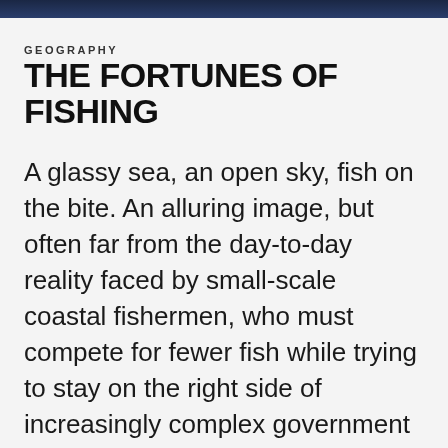GEOGRAPHY
THE FORTUNES OF FISHING
A glassy sea, an open sky, fish on the bite. An alluring image, but often far from the day-to-day reality faced by small-scale coastal fishermen, who must compete for fewer fish while trying to stay on the right side of increasingly complex government rules. One of the few unregulated fisheries left is tuna, which attracts scores of fishermen to the West Coast each summer to try their luck